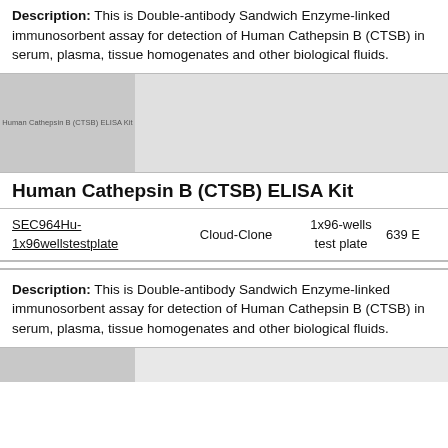Description: This is Double-antibody Sandwich Enzyme-linked immunosorbent assay for detection of Human Cathepsin B (CTSB) in serum, plasma, tissue homogenates and other biological fluids.
[Figure (photo): Product image placeholder for Human Cathepsin B (CTSB) ELISA Kit with grey background showing product label text]
Human Cathepsin B (CTSB) ELISA Kit
| SKU | Brand | Size | Price |
| --- | --- | --- | --- |
| SEC964Hu-1x96wellstestplate | Cloud-Clone | 1x96-wells test plate | 639 E |
Description: This is Double-antibody Sandwich Enzyme-linked immunosorbent assay for detection of Human Cathepsin B (CTSB) in serum, plasma, tissue homogenates and other biological fluids.
[Figure (photo): Partial product image strip at bottom of page]